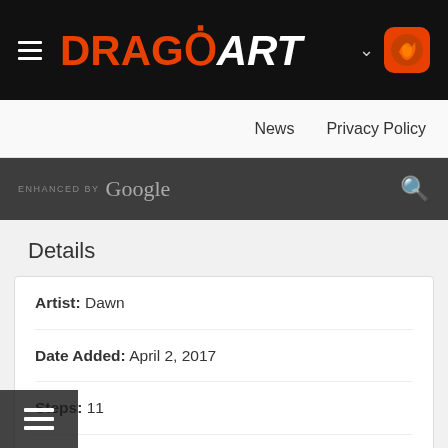DRAGOART
News   Privacy Policy
enhanced by Google [search]
Details
| Artist: | Dawn |
| Date Added: | April 2, 2017 |
| Steps: | 11 |
| Favorited: | 7 (view) |
| Views: | 1 in last hour, 12 in last day, 122 in last week, 79373 total |
| Comments: | 0 |
| Tags: | how to draw girls, how to draw anime girls |